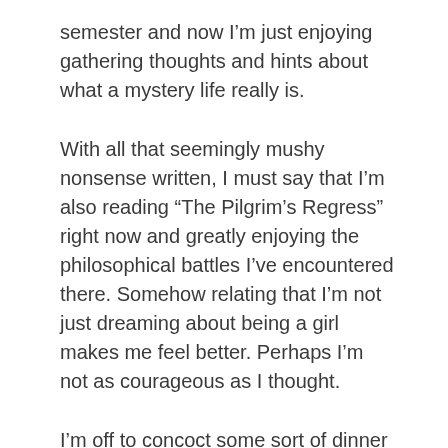semester and now I’m just enjoying gathering thoughts and hints about what a mystery life really is.
With all that seemingly mushy nonsense written, I must say that I’m also reading “The Pilgrim’s Regress” right now and greatly enjoying the philosophical battles I’ve encountered there. Somehow relating that I’m not just dreaming about being a girl makes me feel better. Perhaps I’m not as courageous as I thought.
I’m off to concoct some sort of dinner for myself. Sometimes rambling really soothes me. Tonight is a You’ve Got Mail night, I can feel it. Packing first, of course.